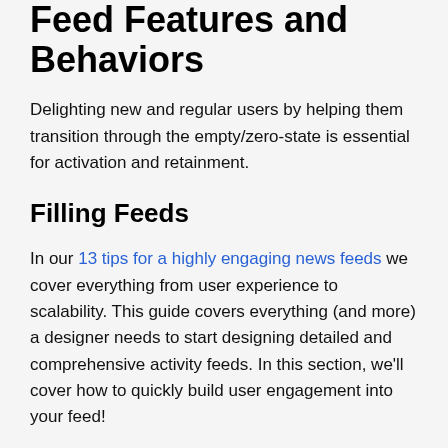Feed Features and Behaviors
Delighting new and regular users by helping them transition through the empty/zero-state is essential for activation and retainment.
Filling Feeds
In our 13 tips for a highly engaging news feeds we cover everything from user experience to scalability. This guide covers everything (and more) a designer needs to start designing detailed and comprehensive activity feeds. In this section, we’ll cover how to quickly build user engagement into your feed!